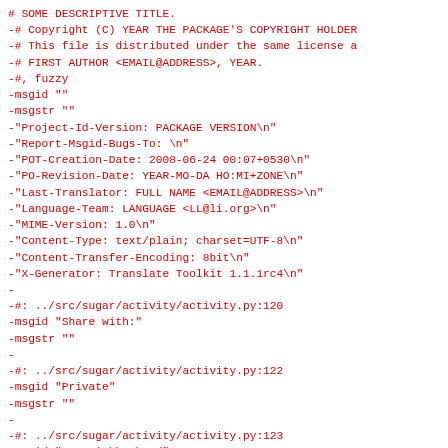# SOME DESCRIPTIVE TITLE.
-# Copyright (C) YEAR THE PACKAGE'S COPYRIGHT HOLDER
-# This file is distributed under the same license a
-# FIRST AUTHOR <EMAIL@ADDRESS>, YEAR.
-#, fuzzy
-msgid ""
-msgstr ""
-"Project-Id-Version: PACKAGE VERSION\n"
-"Report-Msgid-Bugs-To: \n"
-"POT-Creation-Date: 2008-06-24 00:07+0530\n"
-"PO-Revision-Date: YEAR-MO-DA HO:MI+ZONE\n"
-"Last-Translator: FULL NAME <EMAIL@ADDRESS>\n"
-"Language-Team: LANGUAGE <LL@li.org>\n"
-"MIME-Version: 1.0\n"
-"Content-Type: text/plain; charset=UTF-8\n"
-"Content-Transfer-Encoding: 8bit\n"
-"X-Generator: Translate Toolkit 1.1.1rc4\n"
-
-#: ../src/sugar/activity/activity.py:120
-msgid "Share with:"
-msgstr ""
-
-#: ../src/sugar/activity/activity.py:122
-msgid "Private"
-msgstr ""
-
-#: ../src/sugar/activity/activity.py:123
-msgid "My Neighborhood"
-msgstr ""
-
- #: ../src/sugar/activity/activity.py:129